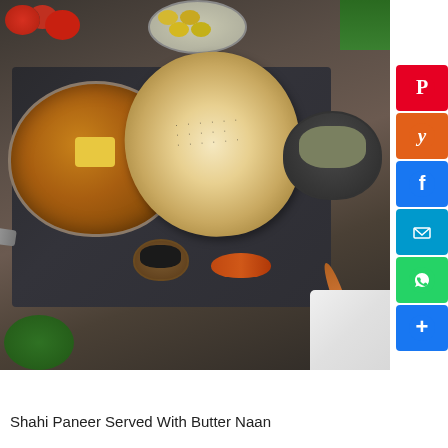[Figure (photo): Overhead shot of Shahi Paneer (Indian curry with paneer cheese) in a copper pan served on a dark slate board with butter naan bread sprinkled with black sesame seeds. Surrounding items include cherry tomatoes on a plate, black seeds in a small copper bowl, a mortar with dried spices, red chili powder on a spoon, and a wooden spoon with turmeric. A green glass and white cloth are in the corners. Social share buttons (Pinterest, Yummly, Facebook, Email, WhatsApp, Plus) are visible on the right side.]
Shahi Paneer Served With Butter Naan